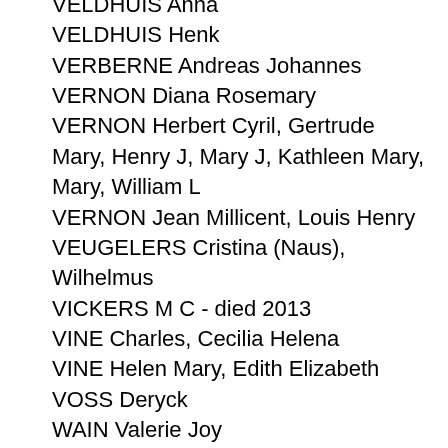VELDHUIS Anna
VELDHUIS Henk
VERBERNE Andreas Johannes
VERNON Diana Rosemary
VERNON Herbert Cyril, Gertrude Mary, Henry J, Mary J, Kathleen Mary, Mary, William L
VERNON Jean Millicent, Louis Henry
VEUGELERS Cristina (Naus), Wilhelmus
VICKERS M C - died 2013
VINE Charles, Cecilia Helena
VINE Helen Mary, Edith Elizabeth
VOSS Deryck
WAIN Valerie Joy
WAKELING Mary Elizabeth
WALKER A
WALKER Albert E, Alice A
WALKER Colin Leslie
WALKER Julia Jane, Albert
WALKER Thomas Leslie, Lorraine Ann (Rowlands)